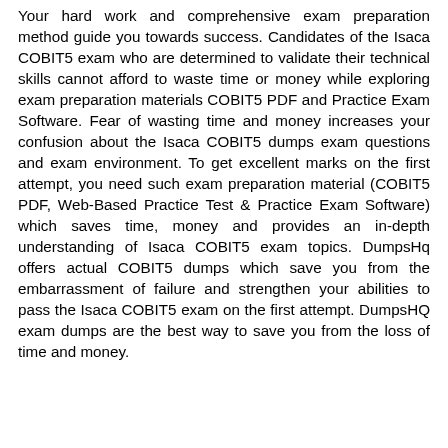Your hard work and comprehensive exam preparation method guide you towards success. Candidates of the Isaca COBIT5 exam who are determined to validate their technical skills cannot afford to waste time or money while exploring exam preparation materials COBIT5 PDF and Practice Exam Software. Fear of wasting time and money increases your confusion about the Isaca COBIT5 dumps exam questions and exam environment. To get excellent marks on the first attempt, you need such exam preparation material (COBIT5 PDF, Web-Based Practice Test & Practice Exam Software) which saves time, money and provides an in-depth understanding of Isaca COBIT5 exam topics. DumpsHq offers actual COBIT5 dumps which save you from the embarrassment of failure and strengthen your abilities to pass the Isaca COBIT5 exam on the first attempt. DumpsHQ exam dumps are the best way to save you from the loss of time and money.